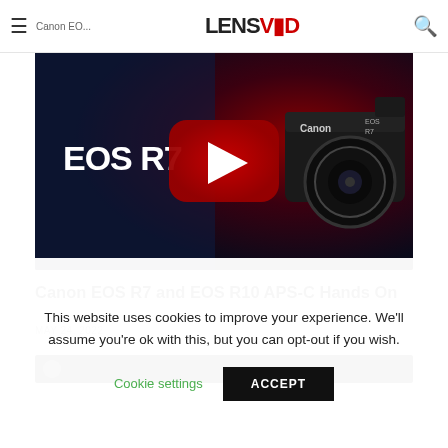LENSVID — Canon EOS R7 and EOS R10 APS-C Hands On
[Figure (screenshot): Canon EOS R7 YouTube video thumbnail showing a Canon EOS R7 camera on a dark red gradient background with the YouTube play button overlay and 'EOS R7' text in white]
Canon EOS R7 and EOS R10 APS-C Hands On
MAY 24, 2022
[Figure (screenshot): Bottom strip of a second video thumbnail with dark background]
This website uses cookies to improve your experience. We'll assume you're ok with this, but you can opt-out if you wish.
Cookie settings   ACCEPT